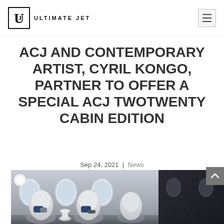ULTIMATE JET
ACJ AND CONTEMPORARY ARTIST, CYRIL KONGO, PARTNER TO OFFER A SPECIAL ACJ TWOTWENTY CABIN EDITION
Sep 24, 2021 | News
[Figure (photo): Interior of a luxury private jet cabin showing white egg-shaped seats with blue and grey pillows, a round side table, and oval airplane windows with a dark patterned wall panel on the right]